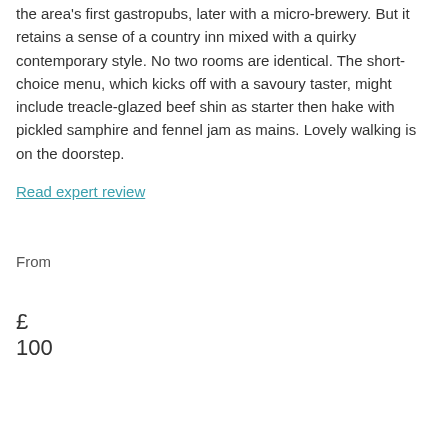the area's first gastropubs, later with a micro-brewery. But it retains a sense of a country inn mixed with a quirky contemporary style. No two rooms are identical. The short-choice menu, which kicks off with a savoury taster, might include treacle-glazed beef shin as starter then hake with pickled samphire and fennel jam as mains. Lovely walking is on the doorstep.
Read expert review
From
£100